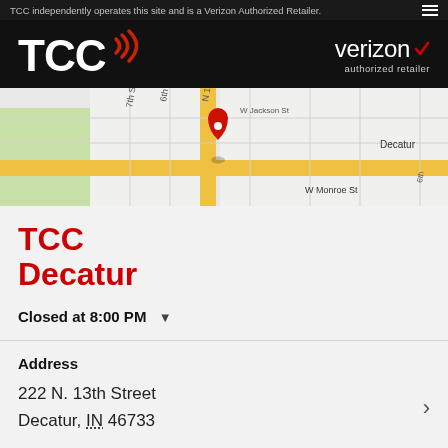TCC independently operates this site and is a Verizon Authorized Retailer.
[Figure (logo): TCC logo with wireless signal waves and Verizon authorized retailer logo on black background]
[Figure (map): Google Maps view of N 13th Street in Decatur, Indiana, showing pin marker at store location near W Monroe St and W Jackson St]
TCC Decatur
Closed at 8:00 PM
Address
222 N. 13th Street
Decatur, IN 46733